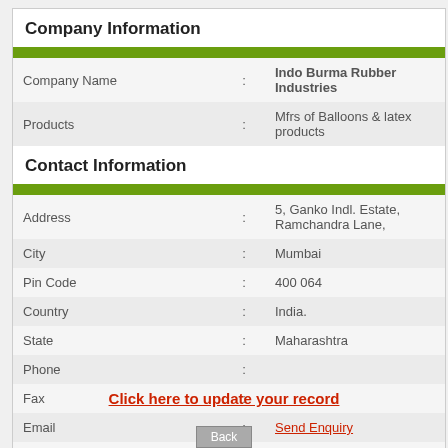Company Information
| Field | : | Value |
| --- | --- | --- |
| Company Name | : | Indo Burma Rubber Industries |
| Products | : | Mfrs of Balloons & latex products |
Contact Information
| Field | : | Value |
| --- | --- | --- |
| Address | : | 5, Ganko Indl. Estate, Ramchandra Lane, |
| City | : | Mumbai |
| Pin Code | : | 400 064 |
| Country | : | India. |
| State | : | Maharashtra |
| Phone | : |  |
| Fax | : |  |
| Email | : | Send Enquiry |
| Contact Person | : |  |
| Designation | : |  |
Click here to update your record